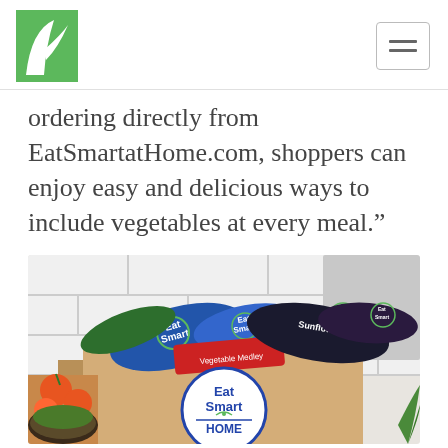EatSmart logo and navigation menu
ordering directly from EatSmartatHome.com, shoppers can enjoy easy and delicious ways to include vegetables at every meal.”
[Figure (photo): An open cardboard box branded with 'Eat Smart at HOME' logo containing multiple packages of Eat Smart brand vegetables including blue bags and dark bags labeled 'Sunflower'. Fresh produce and a salad bowl visible in the lower left corner, set against a white subway tile background.]